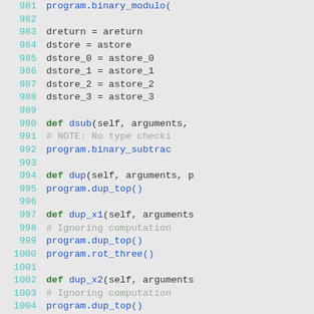Code listing lines 981-1010, Python source code showing bytecode interpreter methods: binary_modulo, dreturn/dstore assignments, dsub, dup, dup_x1, dup_x2, dup2, dup2_x1, dup2_x2 definitions